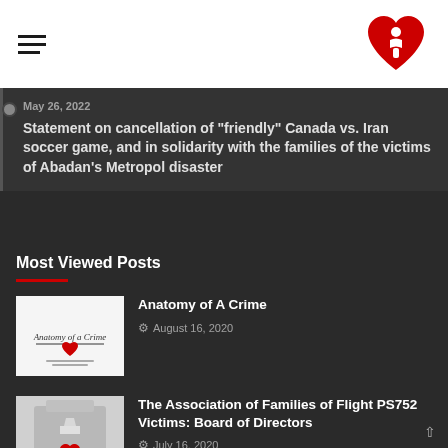Navigation header with hamburger menu and red heart/cross logo
May 26, 2022
Statement on cancellation of “friendly” Canada vs. Iran soccer game, and in solidarity with the families of the victims of Abadan’s Metropol disaster
Most Viewed Posts
[Figure (photo): Thumbnail image for Anatomy of A Crime post showing a white page with text and a small red heart/cross icon]
Anatomy of A Crime
August 16, 2020
[Figure (photo): Thumbnail image for The Association of Families of Flight PS752 Victims post showing a stylized gray figure with red heart]
The Association of Families of Flight PS752 Victims: Board of Directors
July 16, 2020